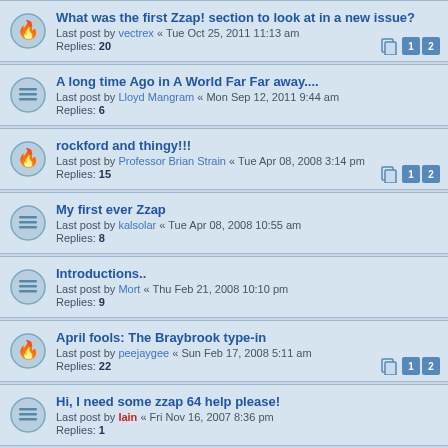What was the first Zzap! section to look at in a new issue? Last post by vectrex « Tue Oct 25, 2011 11:13 am Replies: 20
A long time Ago in A World Far Far away.... Last post by Lloyd Mangram « Mon Sep 12, 2011 9:44 am Replies: 6
rockford and thingy!!! Last post by Professor Brian Strain « Tue Apr 08, 2008 3:14 pm Replies: 15
My first ever Zzap Last post by kalsolar « Tue Apr 08, 2008 10:55 am Replies: 8
Introductions.. Last post by Mort « Thu Feb 21, 2008 10:10 pm Replies: 9
April fools: The Braybrook type-in Last post by peejaygee « Sun Feb 17, 2008 5:11 am Replies: 22
Hi, I need some zzap 64 help please! Last post by Iain « Fri Nov 16, 2007 8:36 pm Replies: 1
dose anybody remember the game striker Last post by lfckev « Fri May 25, 2007 5:03 pm Replies: 4
Zzap! Challengers Last post by Filthy Raider « Sat May 19, 2007 9:33 am Replies: 14